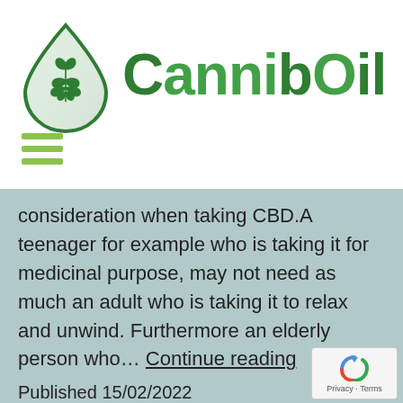[Figure (logo): CanniboOil brand logo with a green cannabis leaf inside a water droplet shape, followed by the text 'CanniboOil' in dark green bold letters]
[Figure (other): Hamburger menu icon — three horizontal olive/yellow-green bars]
consideration when taking CBD.A teenager for example who is taking it for medicinal purpose, may not need as much an adult who is taking it to relax and unwind. Furthermore an elderly person who… Continue reading
Published 15/02/2022